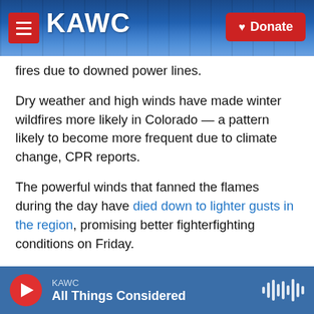KAWC | Donate
fires due to downed power lines.
Dry weather and high winds have made winter wildfires more likely in Colorado — a pattern likely to become more frequent due to climate change, CPR reports.
The powerful winds that fanned the flames during the day have died down to lighter gusts in the region, promising better fighterfighting conditions on Friday.
By Friday morning, the Denver area will content with a cold front and snow showers, reports the
KAWC | All Things Considered